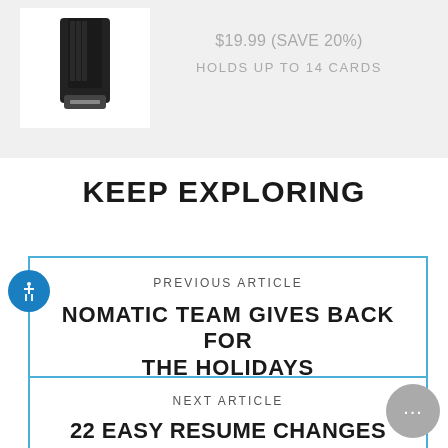$19.99 (SAVE 20%)
HOLDS UP TO 14 CARDS
KEEP EXPLORING
PREVIOUS ARTICLE
NOMATIC TEAM GIVES BACK FOR THE HOLIDAYS
NEXT ARTICLE
22 EASY RESUME CHANGES YOU CAN MAKE RIGHT